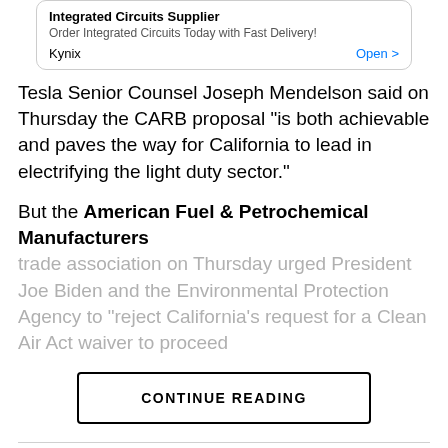[Figure (other): Advertisement for Kynix Integrated Circuits Supplier with Open button]
Tesla Senior Counsel Joseph Mendelson said on Thursday the CARB proposal “is both achievable and paves the way for California to lead in electrifying the light duty sector.”
But the American Fuel & Petrochemical Manufacturers trade association on Thursday urged President Joe Biden and the Environmental Protection Agency to “reject California’s request for a Clean Air Act waiver to proceed
CONTINUE READING
AUTO
GAC Motors, Rotary Int’l sign